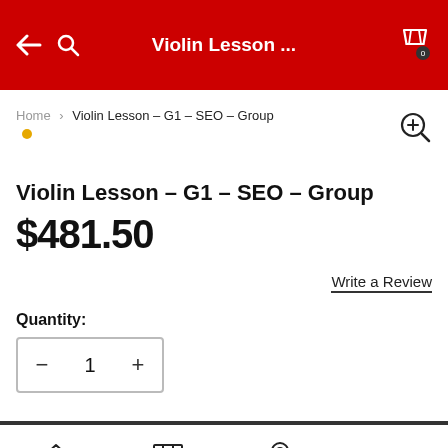Violin Lesson ...
Home > Violin Lesson - G1 - SEO - Group
Violin Lesson - G1 - SEO - Group
$481.50
Write a Review
Quantity:
- 1 +
Home   Store   Contact   More